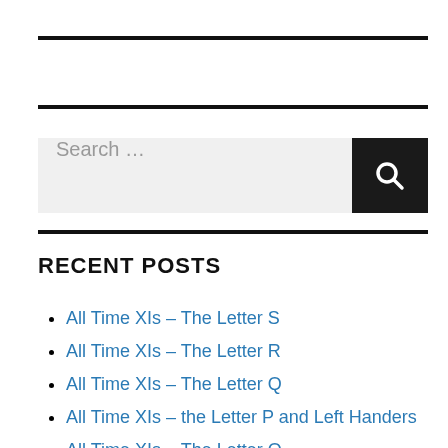RECENT POSTS
All Time XIs – The Letter S
All Time XIs – The Letter R
All Time XIs – The Letter Q
All Time XIs – the Letter P and Left Handers
All Time XIs – The Letter O